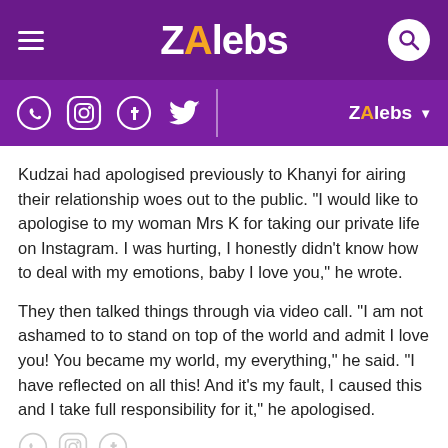ZAlebs
Kudzai had apologised previously to Khanyi for airing their relationship woes out to the public. "I would like to apologise to my woman Mrs K for taking our private life on Instagram. I was hurting, I honestly didn't know how to deal with my emotions, baby I love you," he wrote.
They then talked things through via video call. "I am not ashamed to to stand on top of the world and admit I love you! You became my world, my everything," he said. "I have reflected on all this! And it's my fault, I caused this and I take full responsibility for it," he apologised.